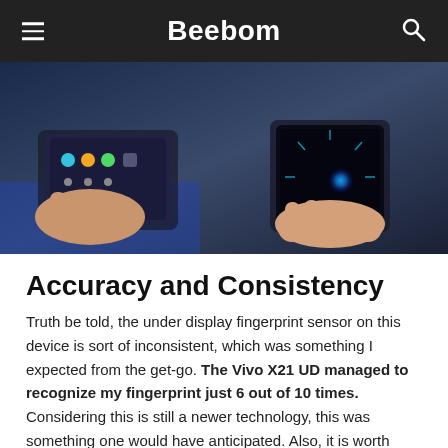Beebom
[Figure (photo): Two hands holding smartphones side by side, one showing an Android home screen and the other showing a fingerprint scanning animation on an under-display fingerprint sensor.]
Accuracy and Consistency
Truth be told, the under display fingerprint sensor on this device is sort of inconsistent, which was something I expected from the get-go. The Vivo X21 UD managed to recognize my fingerprint just 6 out of 10 times. Considering this is still a newer technology, this was something one would have anticipated. Also, it is worth noting that the accuracy...